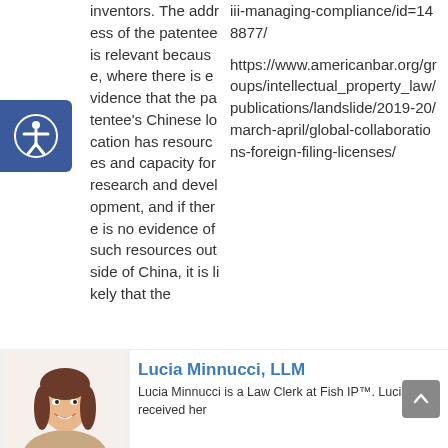inventors. The address of the patentee is relevant because, where there is evidence that the patentee's Chinese location has resources and capacity for research and development, and if there is no evidence of such resources outside of China, it is likely that the
iii-managing-compliance/id=148877/

https://www.americanbar.org/groups/intellectual_property_law/publications/landslide/2019-20/march-april/global-collaborations-foreign-filing-licenses/
[Figure (illustration): Illustrated portrait of Lucia Minnucci, a woman with straight brown hair and bangs, smiling, shown from shoulders up.]
Lucia Minnucci, LLM
Lucia Minnucci is a Law Clerk at Fish IP™. Lucia received her